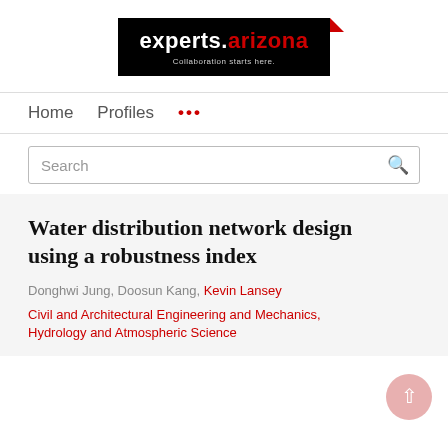[Figure (logo): experts.arizona - Collaboration starts here. logo on black background]
Home   Profiles   ...
Search
Water distribution network design using a robustness index
Donghwi Jung, Doosun Kang, Kevin Lansey
Civil and Architectural Engineering and Mechanics, Hydrology and Atmospheric Science